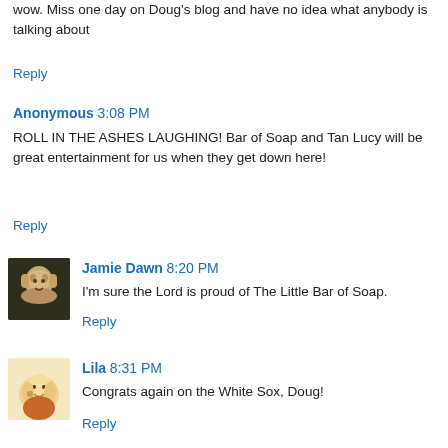wow. Miss one day on Doug's blog and have no idea what anybody is talking about
Reply
Anonymous 3:08 PM
ROLL IN THE ASHES LAUGHING! Bar of Soap and Tan Lucy will be great entertainment for us when they get down here!
Reply
Jamie Dawn 8:20 PM
I'm sure the Lord is proud of The Little Bar of Soap.
Reply
Lila 8:31 PM
Congrats again on the White Sox, Doug!
Reply